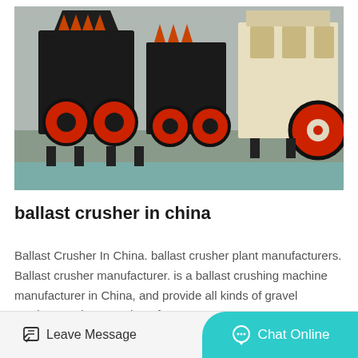[Figure (photo): Industrial ballast crushers / cone crushers lined up in an outdoor yard, black and red machinery on concrete, with a beige crusher on the right side.]
ballast crusher in china
Ballast Crusher In China. ballast crusher plant manufacturers. Ballast crusher manufacturer. is a ballast crushing machine manufacturer in China, and provide all kinds of gravel crushers and ore crushers fo…
Consult Now
Leave Message
Chat Online